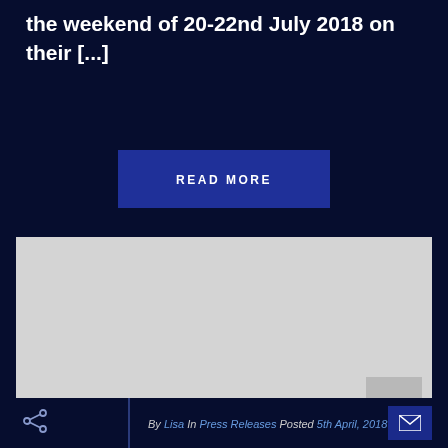the weekend of 20-22nd July 2018 on their [...]
READ MORE
[Figure (other): Large grey placeholder image block with a scroll-to-top button in the bottom right corner]
By Lisa In Press Releases Posted 5th April, 2018